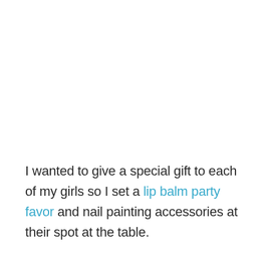I wanted to give a special gift to each of my girls so I set a lip balm party favor and nail painting accessories at their spot at the table.